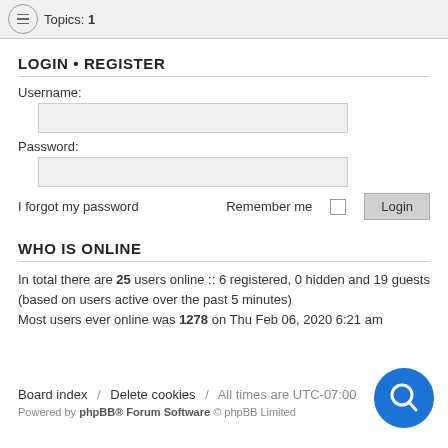Topics: 1
LOGIN • REGISTER
Username:
Password:
I forgot my password    Remember me    Login
WHO IS ONLINE
In total there are 25 users online :: 6 registered, 0 hidden and 19 guests (based on users active over the past 5 minutes)
Most users ever online was 1278 on Thu Feb 06, 2020 6:21 am
Board index  /  Delete cookies  /  All times are UTC-07:00
Powered by phpBB® Forum Software © phpBB Limited